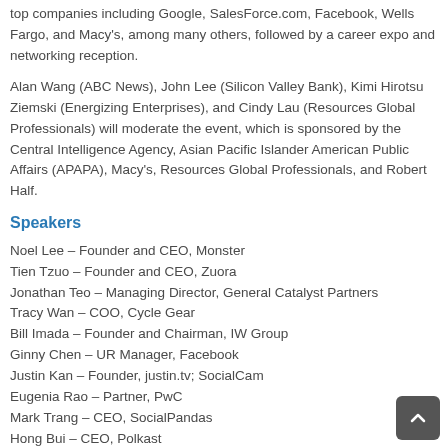top companies including Google, SalesForce.com, Facebook, Wells Fargo, and Macy's, among many others, followed by a career expo and networking reception.
Alan Wang (ABC News), John Lee (Silicon Valley Bank), Kimi Hirotsu Ziemski (Energizing Enterprises), and Cindy Lau (Resources Global Professionals) will moderate the event, which is sponsored by the Central Intelligence Agency, Asian Pacific Islander American Public Affairs (APAPA), Macy's, Resources Global Professionals, and Robert Half.
Speakers
Noel Lee – Founder and CEO, Monster
Tien Tzuo – Founder and CEO, Zuora
Jonathan Teo – Managing Director, General Catalyst Partners
Tracy Wan – COO, Cycle Gear
Bill Imada – Founder and Chairman, IW Group
Ginny Chen – UR Manager, Facebook
Justin Kan – Founder, justin.tv; SocialCam
Eugenia Rao – Partner, PwC
Mark Trang – CEO, SocialPandas
Hong Bui – CEO, Polkast